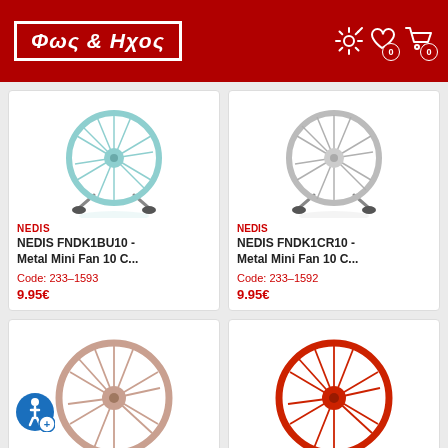Φως & Ηχος
[Figure (photo): Product card: NEDIS FNDK1BU10 Metal Mini Fan 10C, teal/mint color, Code 233-1593, 9.95€]
[Figure (photo): Product card: NEDIS FNDK1CR10 Metal Mini Fan 10C, chrome/silver color, Code 233-1592, 9.95€]
[Figure (photo): Product card: Metal Mini Fan, pink/rose gold color, partially shown]
[Figure (photo): Product card: Metal Mini Fan, red color, partially shown]